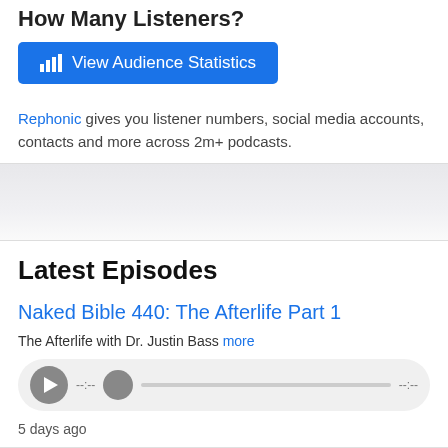How Many Listeners?
[Figure (other): Blue button with bar chart icon labeled 'View Audience Statistics']
Rephonic gives you listener numbers, social media accounts, contacts and more across 2m+ podcasts.
Latest Episodes
Naked Bible 440: The Afterlife Part 1
The Afterlife with Dr. Justin Bass more
[Figure (other): Audio player widget with play button, scrubber, and timestamps --:-- on both ends]
5 days ago